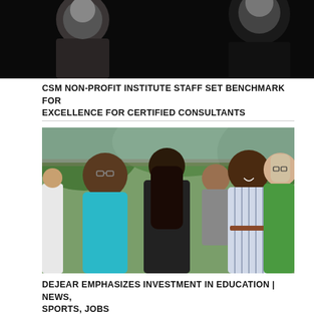[Figure (photo): Partial photo of two people against a dark background, showing shoulders and heads, cropped at top of page]
CSM NON-PROFIT INSTITUTE STAFF SET BENCHMARK FOR EXCELLENCE FOR CERTIFIED CONSULTANTS
[Figure (photo): Group of people socializing outdoors under trees, including a man in a teal shirt, a woman with long dark hair facing away, a smiling woman in a striped dress, and a woman in a green top]
DEJEAR EMPHASIZES INVESTMENT IN EDUCATION | NEWS, SPORTS, JOBS